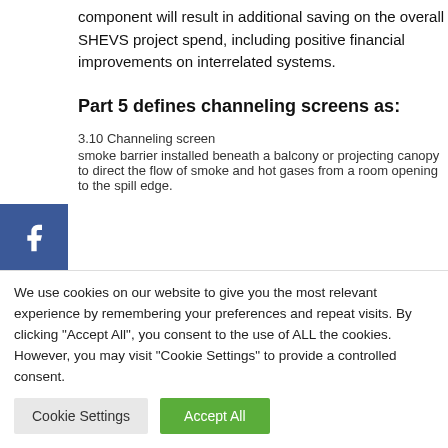component will result in additional saving on the overall SHEVS project spend, including positive financial improvements on interrelated systems.
Part 5 defines channeling screens as:
3.10 Channeling screen
smoke barrier installed beneath a balcony or projecting canopy to direct the flow of smoke and hot gases from a room opening to the spill edge.
We use cookies on our website to give you the most relevant experience by remembering your preferences and repeat visits. By clicking "Accept All", you consent to the use of ALL the cookies. However, you may visit "Cookie Settings" to provide a controlled consent.